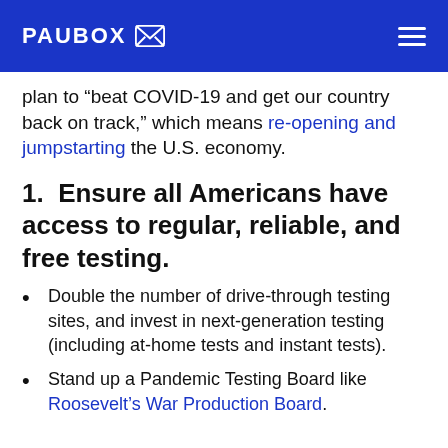PAUBOX [logo]
plan to “beat COVID-19 and get our country back on track,” which means re-opening and jumpstarting the U.S. economy.
1.  Ensure all Americans have access to regular, reliable, and free testing.
Double the number of drive-through testing sites, and invest in next-generation testing (including at-home tests and instant tests).
Stand up a Pandemic Testing Board like Roosevelt’s War Production Board.